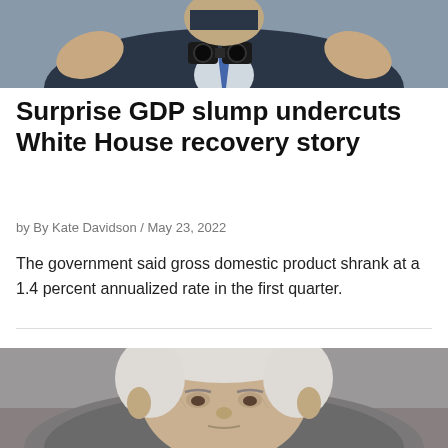[Figure (photo): Close-up photo of a person in a dark suit holding binoculars, cropped to show upper body and hands]
Surprise GDP slump undercuts White House recovery story
by By Kate Davidson / May 23, 2022
The government said gross domestic product shrank at a 1.4 percent annualized rate in the first quarter.
[Figure (photo): Close-up portrait of an elderly man with white hair, looking forward with a serious expression]